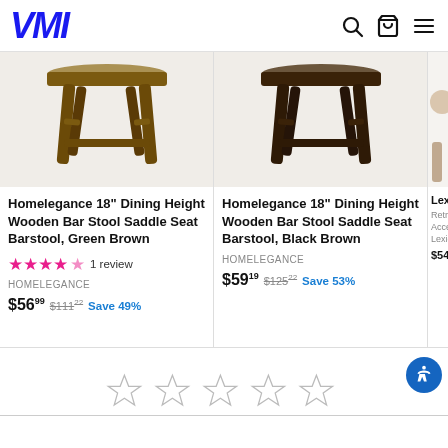VMI
[Figure (photo): Wooden bar stool product image - Green Brown, viewed from below/side showing legs]
Homelegance 18" Dining Height Wooden Bar Stool Saddle Seat Barstool, Green Brown
★★★★☆ 1 review
HOMELEGANCE
$56.99  $111.22  Save 49%
[Figure (photo): Wooden bar stool product image - Black Brown, viewed from below/side showing legs]
Homelegance 18" Dining Height Wooden Bar Stool Saddle Seat Barstool, Black Brown
HOMELEGANCE
$59.19  $125.22  Save 53%
[Figure (photo): Partial product image - Lexicon item, partially cropped]
Lexicon R... Retro Ins... Accent C...
Lexicon
$547.98
[Figure (other): Five empty star rating icons displayed in a row]